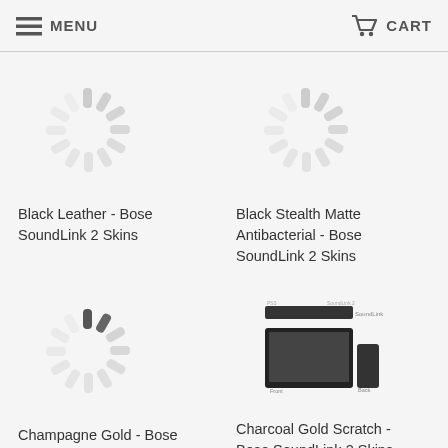MENU  CART
[Figure (illustration): Loading spinner icon (gray radial dashes) for Black Leather - Bose SoundLink 2 Skins product]
Black Leather - Bose SoundLink 2 Skins
[Figure (illustration): Loading spinner icon (gray radial dashes) for Black Stealth Matte Antibacterial - Bose SoundLink 2 Skins product]
Black Stealth Matte Antibacterial - Bose SoundLink 2 Skins
[Figure (illustration): Loading spinner icon (gray radial dashes, partially colored dark) for Champagne Gold - Bose SoundLink 2 Skins product]
Champagne Gold - Bose SoundLink 2 Skins
[Figure (photo): Product image of Bose SoundLink 2 audio system showing soundbar, display screen and speaker components]
Charcoal Gold Scratch - Bose SoundLink 2 Skins
[Figure (illustration): Loading spinner icon (gray radial dashes, partially colored dark) - bottom row left]
[Figure (illustration): Loading spinner icon (gray radial dashes, partially colored dark) - bottom row right]